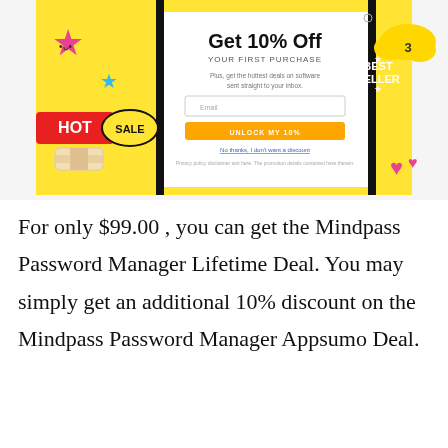[Figure (screenshot): A promotional popup/banner for a software deal website showing 'Get 10% Off YOUR FIRST PURCHASE'. Features colorful cartoon stickers (star, bandage, hot sale sign, best seller badge, cloud, heart). Includes an email input field and 'UNLOCK MY 10%' button on a yellow background.]
For only $99.00 , you can get the Mindpass Password Manager Lifetime Deal. You may simply get an additional 10% discount on the Mindpass Password Manager Appsumo Deal.